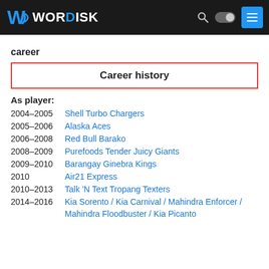WORDISK
career
Career history
As player:
2004–2005  Shell Turbo Chargers
2005–2006  Alaska Aces
2006–2008  Red Bull Barako
2008–2009  Purefoods Tender Juicy Giants
2009–2010  Barangay Ginebra Kings
2010  Air21 Express
2010–2013  Talk 'N Text Tropang Texters
2014–2016  Kia Sorento / Kia Carnival / Mahindra Enforcer / Mahindra Floodbuster / Kia Picanto